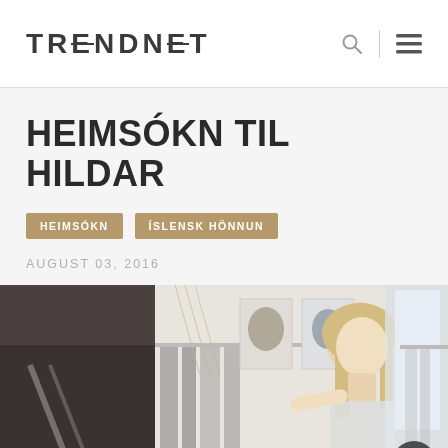TRENDNET
HEIMSÓKN TIL HILDAR
HEIMSÓKN
ÍSLENSK HÖNNUN
AUGUST 03, 2016
[Figure (photo): A blonde woman browsing a clothing rack in a studio or boutique, with fashion photographs pinned on the white wall behind her. Clothes hang on racks to the left and right.]